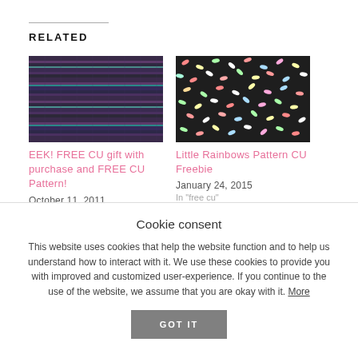RELATED
[Figure (photo): Striped woven textile pattern in dark tones with horizontal purple and teal stripes]
EEK! FREE CU gift with purchase and FREE CU Pattern!
October 11, 2011
[Figure (photo): Dark fabric with small colorful multicolor confetti-like dashes scattered across a dark background]
Little Rainbows Pattern CU Freebie
January 24, 2015
In "free cu"
Cookie consent
This website uses cookies that help the website function and to help us understand how to interact with it. We use these cookies to provide you with improved and customized user-experience. If you continue to the use of the website, we assume that you are okay with it. More
GOT IT